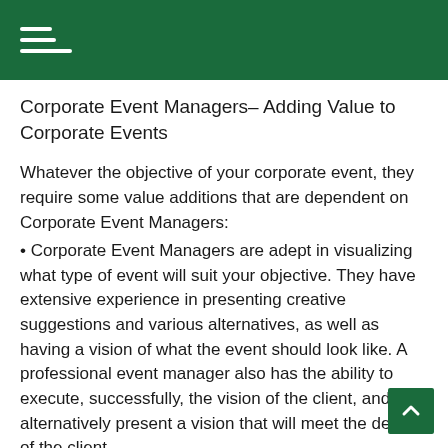Corporate Event Managers– Adding Value to Corporate Events
Whatever the objective of your corporate event, they require some value additions that are dependent on Corporate Event Managers:
• Corporate Event Managers are adept in visualizing what type of event will suit your objective. They have extensive experience in presenting creative suggestions and various alternatives, as well as having a vision of what the event should look like. A professional event manager also has the ability to execute, successfully, the vision of the client, and alternatively present a vision that will meet the desires of the client.
• Implementation of the vision involves coordination of goods and services. Corporate Event Managers have